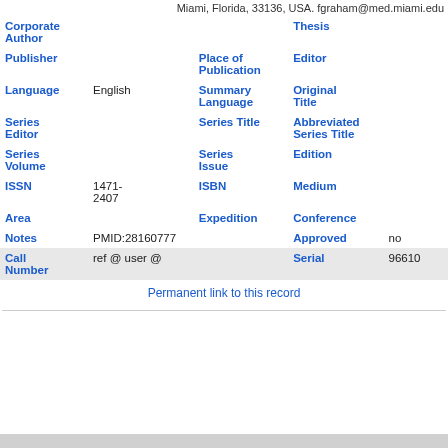Miami, Florida, 33136, USA. fgraham@med.miami.edu
| Field | Value | Field | Value |
| --- | --- | --- | --- |
| Corporate Author |  | Thesis |  |
| Publisher |  | Place of Publication |  | Editor |  |
| Language | English | Summary Language |  | Original Title |  |
| Series Editor |  | Series Title |  | Abbreviated Series Title |  |
| Series Volume |  | Series Issue |  | Edition |  |
| ISSN | 1471-2407 | ISBN |  | Medium |  |
| Area |  | Expedition |  | Conference |  |
| Notes | PMID:28160777 |  |  | Approved | no |
| Call Number | ref @ user @ |  |  | Serial | 96610 |
Permanent link to this record